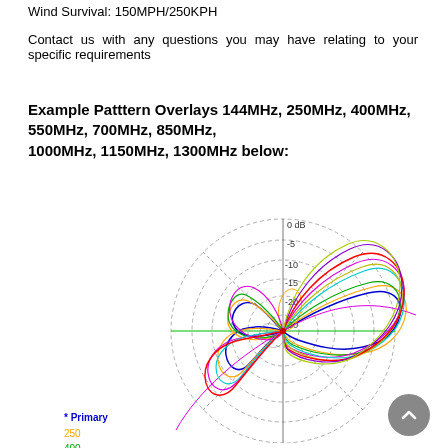Wind Survival: 150MPH/250KPH
Contact us with any questions you may have relating to your specific requirements
Example Patttern Overlays 144MHz, 250MHz, 400MHz, 550MHz, 700MHz, 850MHz, 1000MHz, 1150MHz, 1300MHz below:
[Figure (continuous-plot): Polar radiation pattern overlay chart showing antenna patterns at multiple frequencies: Primary (144MHz, blue), 250MHz (orange), 400MHz (green), 550MHz (magenta), 700MHz (cyan), 850MHz (yellow), 1000MHz (red), 1150MHz (purple), 1300MHz (yellow-green). Concentric dashed circles at 0, -5, -10, -15, -20, -30 dB. Patterns show main lobe pointing to the right with various side lobes.]